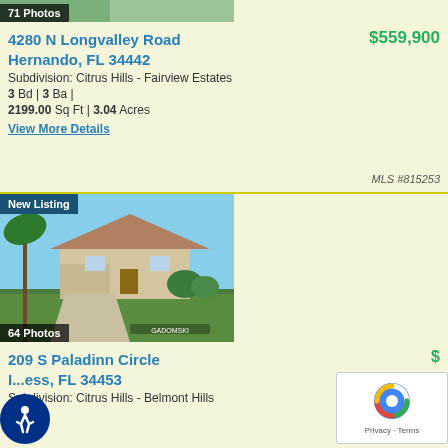[Figure (photo): Aerial/exterior photo of property with 71 Photos badge]
4280 N Longvalley Road
Hernando, FL 34442
$559,900
Subdivision: Citrus Hills - Fairview Estates
3 Bd | 3 Ba |
2199.00 Sq Ft | 3.04 Acres
View More Details
MLS #815253
[Figure (photo): Exterior photo of residential home with New Listing badge and 64 Photos badge]
209 S Paladinn Circle
I...ess, FL 34453
Subdivision: Citrus Hills - Belmont Hills